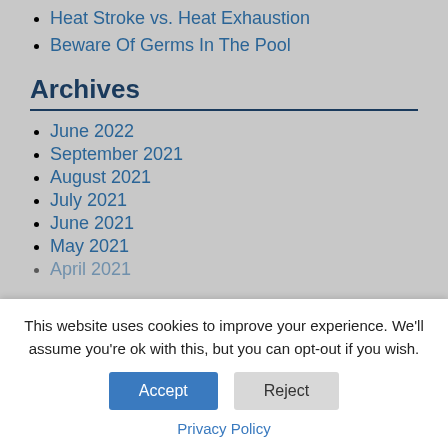Heat Stroke vs. Heat Exhaustion
Beware Of Germs In The Pool
Archives
June 2022
September 2021
August 2021
July 2021
June 2021
May 2021
April 2021
This website uses cookies to improve your experience. We'll assume you're ok with this, but you can opt-out if you wish.
Accept
Reject
Privacy Policy